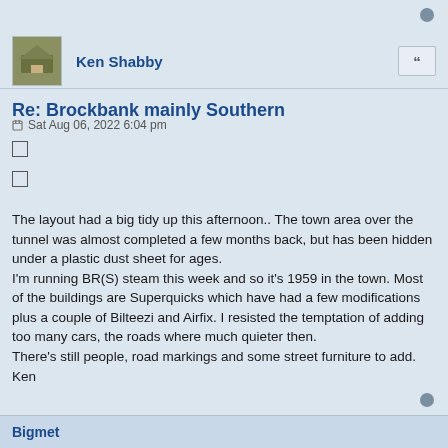Ken Shabby
Re: Brockbank mainly Southern
Sat Aug 06, 2022 6:04 pm
The layout had a big tidy up this afternoon.. The town area over the tunnel was almost completed a few months back, but has been hidden under a plastic dust sheet for ages.
I'm running BR(S) steam this week and so it's 1959 in the town. Most of the buildings are Superquicks which have had a few modifications plus a couple of Bilteezi and Airfix. I resisted the temptation of adding too many cars, the roads where much quieter then.
There's still people, road markings and some street furniture to add.
Ken
Bigmet